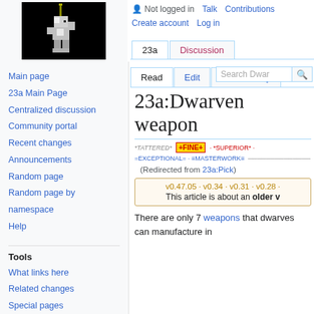Not logged in  Talk  Contributions  Create account  Log in
[Figure (illustration): Pixel art of a dwarf figure holding a pick, white on black background]
23a:Dwarven weapon
*TATTERED* +FINE+ *SUPERIOR* =EXCEPTIONAL= ≡MASTERWORK≡
(Redirected from 23a:Pick)
v0.47.05 · v0.34 · v0.31 · v0.28 · This article is about an older v
There are only 7 weapons that dwarves can manufacture in Fortress mode. Although the